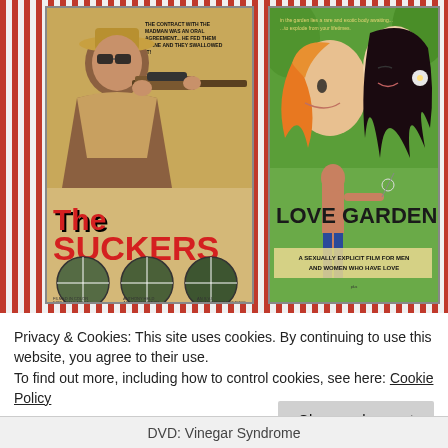[Figure (illustration): Two vintage movie poster images side by side on a red and white striped background. Left poster: 'The Suckers' featuring a man in a hat aiming a rifle with a scope, red title text, and three circular crosshair target images at the bottom. Right poster: 'Love Garden' featuring illustrated faces of a woman with red/orange hair and a dark-haired woman, plus a man reaching out, with text 'A Sexually Explicit Film For Men And Women Who Have Love'.]
Privacy & Cookies: This site uses cookies. By continuing to use this website, you agree to their use.
To find out more, including how to control cookies, see here: Cookie Policy
Close and accept
DVD: Vinegar Syndrome